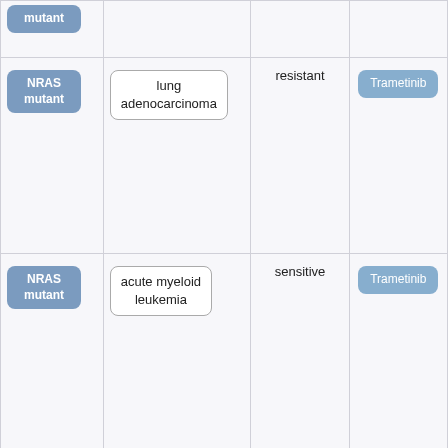| Mutation/Biomarker | Cancer Type | Response | Drug |
| --- | --- | --- | --- |
| mutant |  |  |  |
| NRAS mutant | lung adenocarcinoma | resistant | Trametinib |
| NRAS mutant | acute myeloid leukemia | sensitive | Trametinib |